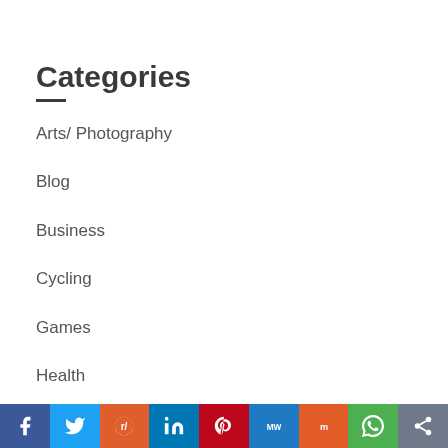Categories
Arts/ Photography
Blog
Business
Cycling
Games
Health
Home
f  Twitter  Reddit  in  Pinterest  MW  Mix  WhatsApp  Share